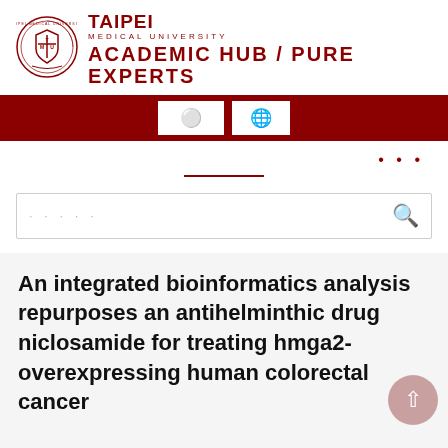TAIPEI MEDICAL UNIVERSITY ACADEMIC HUB / PURE EXPERTS
[Figure (logo): Taipei Medical University circular seal/crest logo in dark red]
... (navigation dots) —— (divider line)
· · · · · (search box placeholder dots)
An integrated bioinformatics analysis repurposes an antihelminthic drug niclosamide for treating hmga2-overexpressing human colorectal cancer